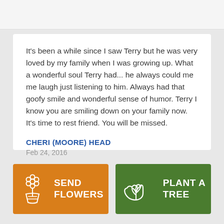It's been a while since I saw Terry but he was very loved by my family when I was growing up. What a wonderful soul Terry had... he always could me me laugh just listening to him. Always had that goofy smile and wonderful sense of humor. Terry I know you are smiling down on your family now. It's time to rest friend. You will be missed.
CHERI (MOORE) HEAD
Feb 24, 2016
[Figure (other): Button: Send Flowers with flower bouquet icon on orange background]
[Figure (other): Button: Plant a Tree with plant/hand icon on green background]